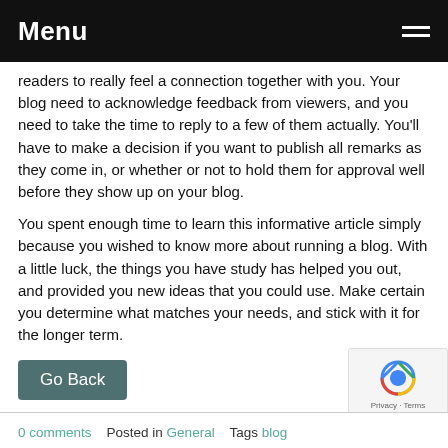Menu
readers to really feel a connection together with you. Your blog need to acknowledge feedback from viewers, and you need to take the time to reply to a few of them actually. You'll have to make a decision if you want to publish all remarks as they come in, or whether or not to hold them for approval well before they show up on your blog.
You spent enough time to learn this informative article simply because you wished to know more about running a blog. With a little luck, the things you have study has helped you out, and provided you new ideas that you could use. Make certain you determine what matches your needs, and stick with it for the longer term.
Go Back
0 comments   Posted in General   Tags blog